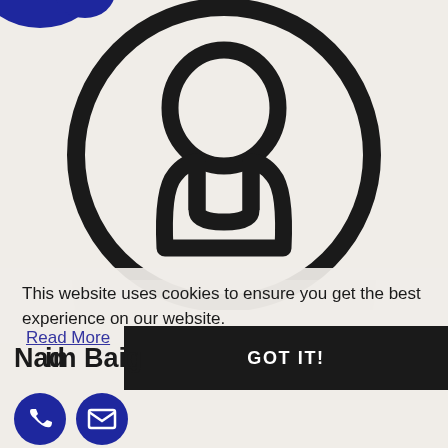[Figure (illustration): Generic user/person silhouette icon inside a large circle, black outline on light gray background. The top of the image is partially cropped, showing a blue logo at the top-left corner.]
This website uses cookies to ensure you get the best experience on our website.
Read More
Nadim Baig
GOT IT!
[Figure (illustration): Two circular dark blue social media icon buttons at the bottom left — a phone icon and an email/envelope icon.]